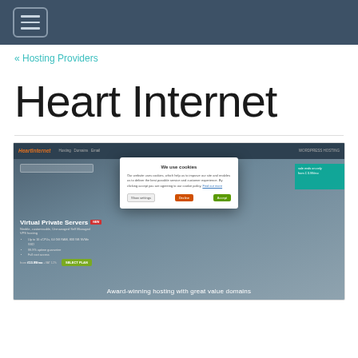Navigation menu / hamburger button
« Hosting Providers
Heart Internet
[Figure (screenshot): Screenshot of the Heart Internet website showing a cookie consent modal dialog overlaying the homepage. The modal has the title 'We use cookies' with body text, 'Show settings', 'Decline', and 'Accept' buttons. Behind the modal is the Heart Internet website showing a Virtual Private Servers section with a NEW badge, bullet points, pricing, a SELECT PLAN button, a teal promotional box, and a bottom banner reading 'Award-winning hosting with great value domains'.]